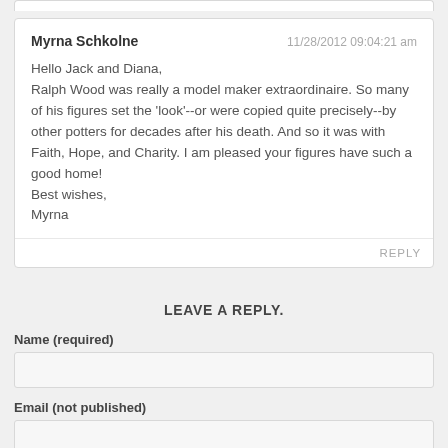Myrna Schkolne
11/28/2012 09:04:21 am
Hello Jack and Diana,
Ralph Wood was really a model maker extraordinaire. So many of his figures set the 'look'--or were copied quite precisely--by other potters for decades after his death. And so it was with Faith, Hope, and Charity. I am pleased your figures have such a good home!
Best wishes,
Myrna
REPLY
LEAVE A REPLY.
Name (required)
Email (not published)